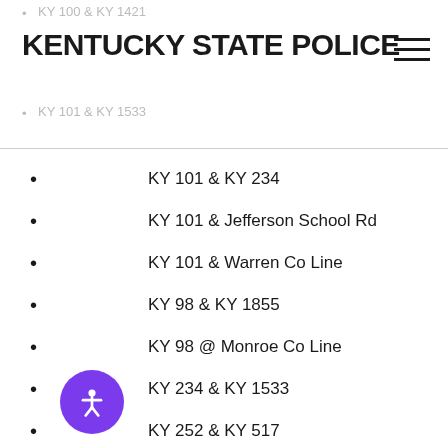KY 100 & KY 1421 · KY 101 & KY 1533 — KENTUCKY STATE POLICE
KY 101 & KY 234
KY 101 & Jefferson School Rd
KY 101 & Warren Co Line
KY 98 & KY 1855
KY 98 @ Monroe Co Line
KY 234 & KY 1533
KY 252 & KY 517
KY 99 & Isom Bradley Rd (only if with TN agency)
KY 99 & Amos Long Creek